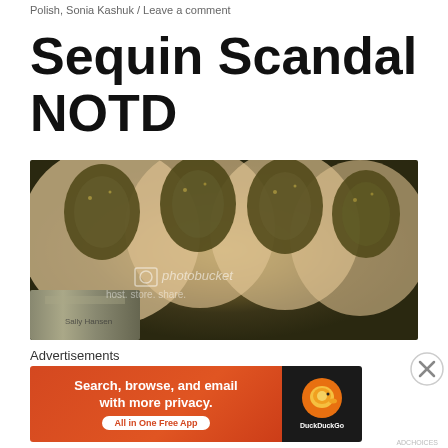Polish, Sonia Kashuk / Leave a comment
Sequin Scandal NOTD
[Figure (photo): Close-up photo of a hand with nails painted in a dark olive/bronze sequin nail polish (Sonia Kashuk), holding a nail polish bottle. Photobucket watermark visible.]
Advertisements
[Figure (screenshot): DuckDuckGo advertisement banner: 'Search, browse, and email with more privacy. All in One Free App' with DuckDuckGo logo on dark background.]